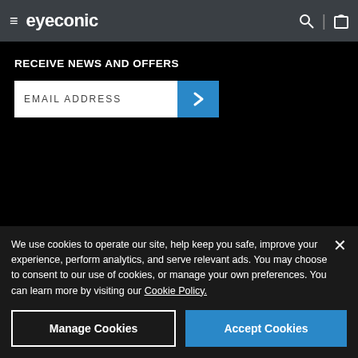eyeconic — navigation bar with hamburger menu, logo, search and cart icons
RECEIVE NEWS AND OFFERS
EMAIL ADDRESS
Privacy Policy
Notice of Privacy Practices
Terms of Service
Sitemap
Accessibility
Cookie Policy
We use cookies to operate our site, help keep you safe, improve your experience, perform analytics, and serve relevant ads. You may choose to consent to our use of cookies, or manage your own preferences. You can learn more by visiting our Cookie Policy.
© 2022 Eyeconic, Inc. All rights reserved. VSP. eyeconic.com and Eyeconic